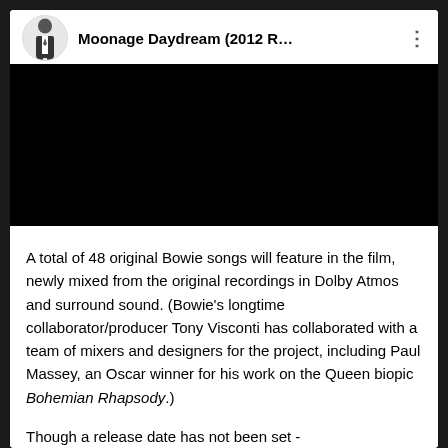[Figure (screenshot): YouTube-style video player embed showing a video titled 'Moonage Daydream (2012 R...' with a circular avatar of a person in a suit on the left, a three-dot menu icon on the right, and a black video screen below.]
A total of 48 original Bowie songs will feature in the film, newly mixed from the original recordings in Dolby Atmos and surround sound. (Bowie's longtime collaborator/producer Tony Visconti has collaborated with a team of mixers and designers for the project, including Paul Massey, an Oscar winner for his work on the Queen biopic Bohemian Rhapsody.)
Though a release date has not been set -